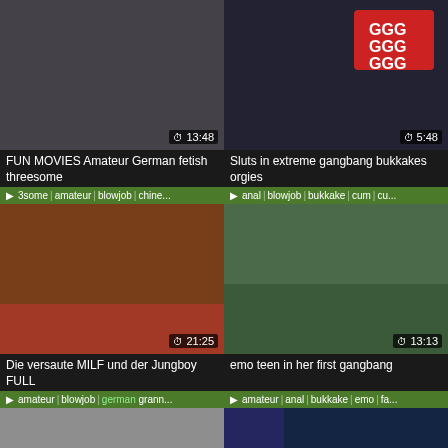[Figure (screenshot): Video thumbnail 1 - duration 13:48]
FUN MOVIES Amateur German fetish threesome
3some | amateur | blowjob | chine...
[Figure (screenshot): Video thumbnail 2 - duration 5:48]
Sluts in extreme gangbang bukkakes orgies
anal | blowjob | bukkake | cum | cu...
[Figure (screenshot): Video thumbnail 3 - duration 21:25]
Die versaute MILF und der Jungboy FULL
amateur | blowjob | german grann...
[Figure (screenshot): Video thumbnail 4 - duration 13:13]
emo teen in her first gangbang
amateur | anal | bukkake | emo | fa...
[Figure (screenshot): Video thumbnail 5 - partial]
[Figure (screenshot): Video thumbnail 6 - partial]